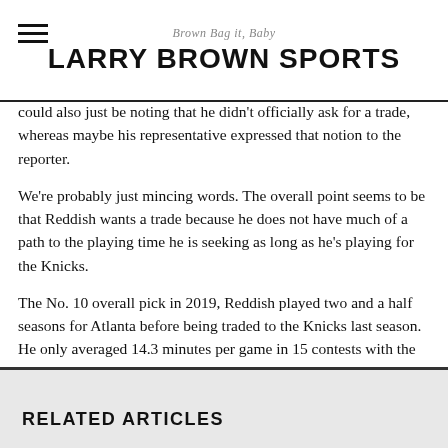Brown Bag it, Baby | LARRY BROWN SPORTS
could also just be noting that he didn't officially ask for a trade, whereas maybe his representative expressed that notion to the reporter.
We're probably just mincing words. The overall point seems to be that Reddish wants a trade because he does not have much of a path to the playing time he is seeking as long as he's playing for the Knicks.
The No. 10 overall pick in 2019, Reddish played two and a half seasons for Atlanta before being traded to the Knicks last season. He only averaged 14.3 minutes per game in 15 contests with the Knicks last season. His minutes dropped by a third, and his points average went from 11.9 per game to 6.1 per game after the trade.
Reddish's reported desire to play for a new team makes sense.
RELATED ARTICLES